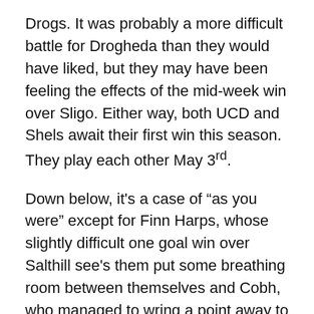Drogs. It was probably a more difficult battle for Drogheda than they would have liked, but they may have been feeling the effects of the mid-week win over Sligo. Either way, both UCD and Shels await their first win this season. They play each other May 3rd.
Down below, it's a case of “as you were” except for Finn Harps, whose slightly difficult one goal win over Salthill see's them put some breathing room between themselves and Cobh, who managed to wring a point away to Waterford despite playing most of the game with only ten men. I thought at the start of the season that Cobh were going to struggle big time, playing on a tiny budget and unused to the higher level of competition, but they’re in the top half, above Waterford, as the first series of games draws to a close. It's not that hard to imagine them, now, being in a play-off position at leagues end.